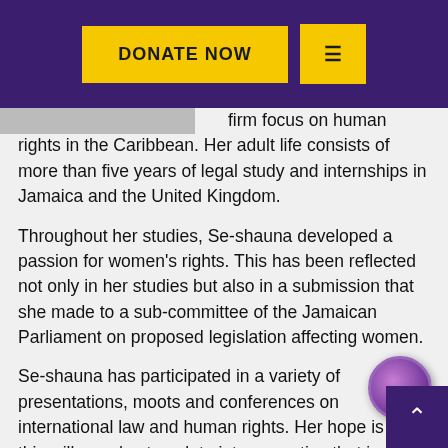DONATE NOW  ≡
[Figure (screenshot): Partial image of a person cropped at top of content area]
firm focus on human rights in the Caribbean. Her adult life consists of more than five years of legal study and internships in Jamaica and the United Kingdom.
Throughout her studies, Se-shauna developed a passion for women's rights. This has been reflected not only in her studies but also in a submission that she made to a sub-committee of the Jamaican Parliament on proposed legislation affecting women.
Se-shauna has participated in a variety of presentations, moots and conferences on international law and human rights. Her hope is that this will one day translate into a practice that is centred on advocacy for greater inclusion of and respect for international human rights in Jamaica and the Caribbean.